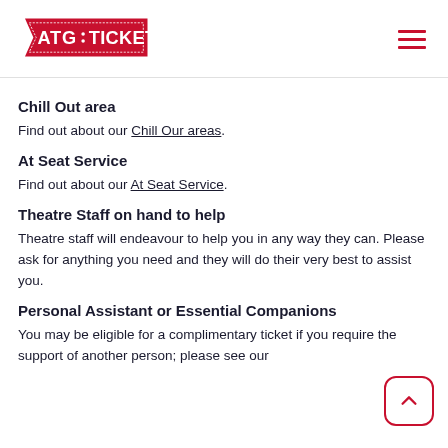ATG TICKETS
Chill Out area
Find out about our Chill Our areas.
At Seat Service
Find out about our At Seat Service.
Theatre Staff on hand to help
Theatre staff will endeavour to help you in any way they can. Please ask for anything you need and they will do their very best to assist you.
Personal Assistant or Essential Companions
You may be eligible for a complimentary ticket if you require the support of another person; please see our